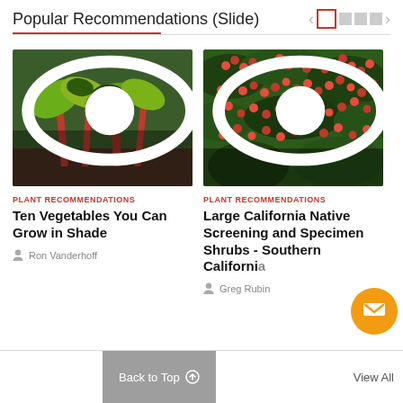Popular Recommendations (Slide)
[Figure (photo): Chard plants with red/green stems growing in soil]
91012
PLANT RECOMMENDATIONS
Ten Vegetables You Can Grow in Shade
Ron Vanderhoff
[Figure (photo): Red berries on a shrub with green leaves]
61016
PLANT RECOMMENDATIONS
Large California Native Screening and Specimen Shrubs - Southern California
Greg Rubin
View All
Back to Top